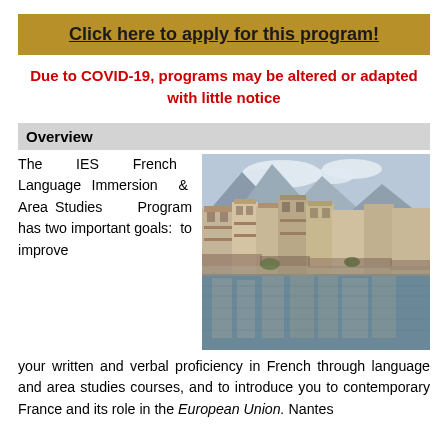Click here to apply for this program!
Due to COVID-19, programs may be altered or adapted with little notice
Overview
[Figure (photo): Canal-side street view in Annecy, France, with old stone buildings, balconies with flowers, and mountain backdrop reflected in water]
The IES French Language Immersion & Area Studies Program has two important goals: to improve your written and verbal proficiency in French through language and area studies courses, and to introduce you to contemporary France and its role in the European Union. Nantes